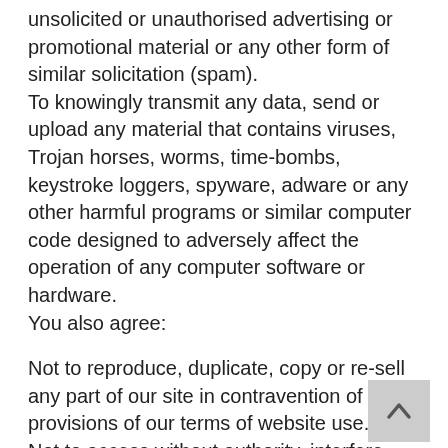unsolicited or unauthorised advertising or promotional material or any other form of similar solicitation (spam).
To knowingly transmit any data, send or upload any material that contains viruses, Trojan horses, worms, time-bombs, keystroke loggers, spyware, adware or any other harmful programs or similar computer code designed to adversely affect the operation of any computer software or hardware.
You also agree:
Not to reproduce, duplicate, copy or re-sell any part of our site in contravention of the provisions of our terms of website use.
Not to access without authority, interfere with, damage or disrupt:
any part of our site;
any equipment or network on which our site is